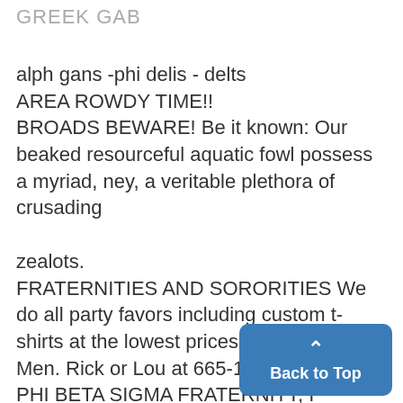GREEK GAB
alph gans -phi delis - delts
AREA ROWDY TIME!!
BROADS BEWARE! Be it known: Our beaked resourceful aquatic fowl possess a myriad, ney, a veritable plethora of crusading
zealots.
FRATERNITIES AND SORORITIES We do all party favors including custom t-shirts at the lowest prices. Call Te Button Men. Rick or Lou at 665-1161.
PHI BETA SIGMA FRATERNITY, I
[Figure (other): Back to Top button - a blue rounded rectangle UI button with an upward chevron arrow and the text 'Back to Top']